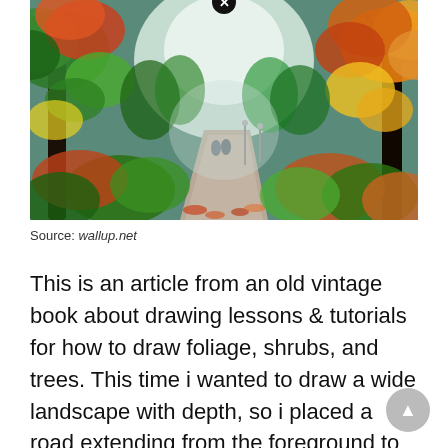[Figure (illustration): Oil painting of an autumn park path with colorful foliage trees (greens, yellows, oranges, reds) on both sides. Two small silhouetted figures walk away down a foggy receding road. Lamp posts visible. Vibrant impressionist style.]
Source: wallup.net
This is an article from an old vintage book about drawing lessons & tutorials for how to draw foliage, shrubs, and trees. This time i wanted to draw a wide landscape with depth, so i placed a road extending from the foreground to create depth.